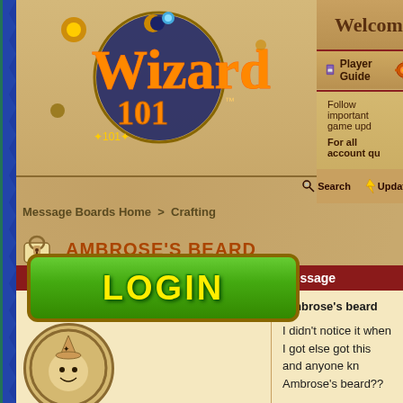[Figure (logo): Wizard101 game logo with decorative fantasy lettering in orange/gold on dark blue circular background with gear and star elements]
[Figure (other): Green LOGIN button with yellow text and gold border]
Welcome
Player Guide
Fansites
Follow important game upd
For all account qu
By posting on the Wizar
Search   Updated
Message Boards Home > Crafting
AMBROSE'S BEARD
| Author | Message |
| --- | --- |
| WOLFYJONATHAN | Ambrose's beard

I didn't notice it when I got else got this and anyone kn Ambrose's beard?? |
[Figure (illustration): Circular avatar showing a cartoon wizard character with pointy hat, round face with simple features]